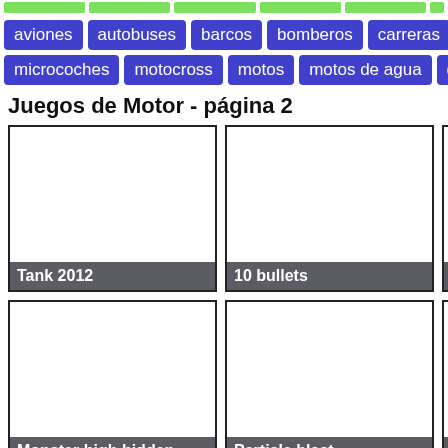aviones
autobuses
barcos
bomberos
carreras
cami...
microcoches
motocross
motos
motos de agua
quads
Juegos de Motor - página 2
[Figure (screenshot): Game thumbnail for Tank 2012]
[Figure (screenshot): Game thumbnail for 10 bullets]
[Figure (screenshot): Game thumbnail for Rod... (partially visible)]
[Figure (screenshot): Game thumbnail for Monster high hidden...]
[Figure (screenshot): Game thumbnail for Particle blast]
[Figure (screenshot): Game thumbnail for Wo... (partially visible)]
[Figure (screenshot): Game thumbnail row 3, card 1 (partially visible)]
[Figure (screenshot): Game thumbnail row 3, card 2 (partially visible)]